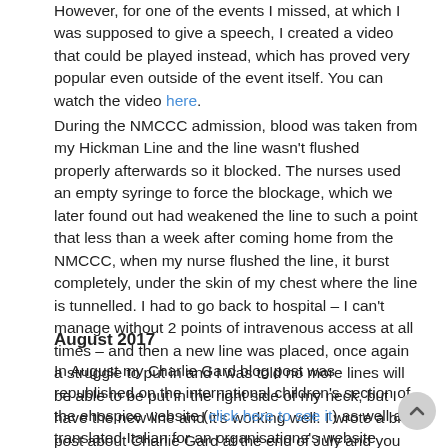However, for one of the events I missed, at which I was supposed to give a speech, I created a video that could be played instead, which has proved very popular even outside of the event itself. You can watch the video here.
During the NMCCC admission, blood was taken from my Hickman Line and the line wasn't flushed properly afterwards so it blocked. The nurses used an empty syringe to force the blockage, which we later found out had weakened the line to such a point that less than a week after coming home from the NMCCC, when my nurse flushed the line, it burst completely, under the skin of my chest where the line is tunnelled. I had to go back to hospital – I can't manage without 2 points of intravenous access at all times – and then a new line was placed, once again a struggle to put in and I was told no more lines will be able to be put in the right side of my neck, but I have the new line and it's working well. I wrote a blog post about Charlie Gard at the end of July and you can read this here.
August 2017
In August my Charlie Gard blog post was republished on the international children's section of the ehospice website (click here to see it) as well as translated Italian for an organisations's website social media. My Dying Matters Caring About Carers video was published on ehospice, I was invited to attend the next Patient